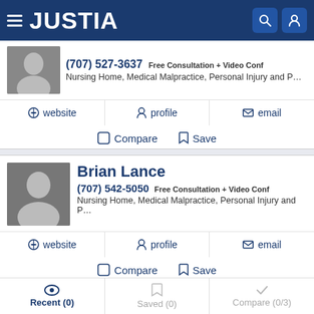JUSTIA
(707) 527-3637 Free Consultation + Video Conf
Nursing Home, Medical Malpractice, Personal Injury and P...
website | profile | email
Compare | Save
Brian Lance
(707) 542-5050 Free Consultation + Video Conf
Nursing Home, Medical Malpractice, Personal Injury and P...
website | profile | email
Compare | Save
Recent (0) | Saved (0) | Compare (0/3)